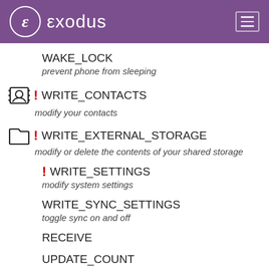exodus
WAKE_LOCK
prevent phone from sleeping
! WRITE_CONTACTS
modify your contacts
! WRITE_EXTERNAL_STORAGE
modify or delete the contents of your shared storage
! WRITE_SETTINGS
modify system settings
WRITE_SYNC_SETTINGS
toggle sync on and off
RECEIVE
UPDATE_COUNT